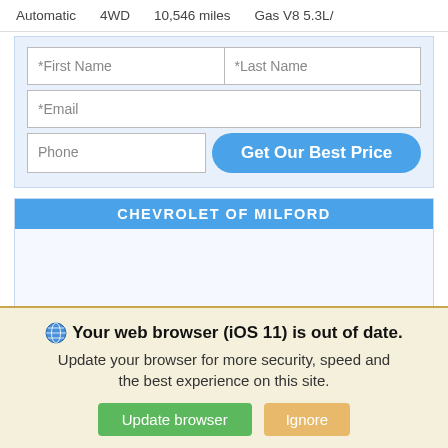Automatic   4WD   10,546 miles   Gas V8 5.3L/
*First Name   *Last Name   *Email   Phone
Get Our Best Price
CHEVROLET OF MILFORD
Your web browser (iOS 11) is out of date. Update your browser for more security, speed and the best experience on this site.
Update browser   Ignore